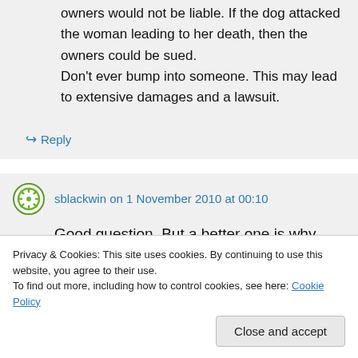owners would not be liable. If the dog attacked the woman leading to her death, then the owners could be sued. Don't ever bump into someone. This may lead to extensive damages and a lawsuit.
↪ Reply
sblackwin on 1 November 2010 at 00:10
Good question. But a better one is why
Privacy & Cookies: This site uses cookies. By continuing to use this website, you agree to their use.
To find out more, including how to control cookies, see here: Cookie Policy
Close and accept